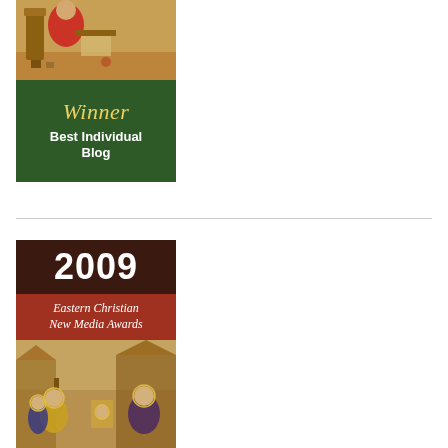[Figure (illustration): Award badge: top portion shows a religious icon illustration (Byzantine-style figure at desk), bottom dark green section reads 'Winner' in italic gold script and 'Best Individual Blog' in bold white text on green background.]
[Figure (illustration): Award badge: '2009' in large bold white text on dark brown header, 'Eastern Christian New Media Awards' in italic white text on red banner, bottom portion shows a Byzantine-style religious icon painting with figures.]